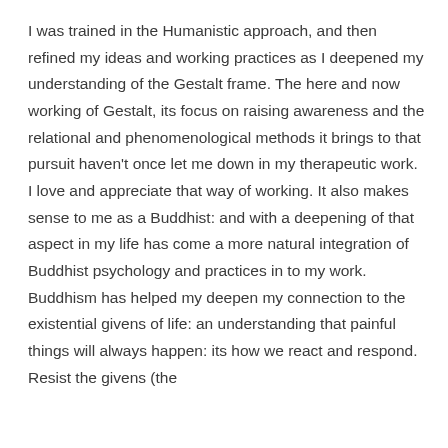I was trained in the Humanistic approach, and then refined my ideas and working practices as I deepened my understanding of the Gestalt frame. The here and now working of Gestalt, its focus on raising awareness and the relational and phenomenological methods it brings to that pursuit haven't once let me down in my therapeutic work. I love and appreciate that way of working. It also makes sense to me as a Buddhist: and with a deepening of that aspect in my life has come a more natural integration of Buddhist psychology and practices in to my work. Buddhism has helped my deepen my connection to the existential givens of life: an understanding that painful things will always happen: its how we react and respond. Resist the givens (the